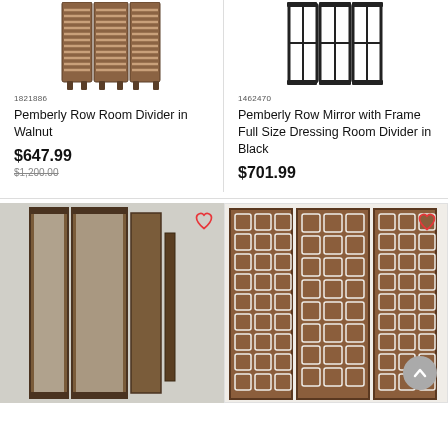[Figure (photo): Pemberly Row Room Divider in Walnut — wooden shutter-style folding room divider, top portion visible]
1821886
Pemberly Row Room Divider in Walnut
$647.99
$1,200.00
[Figure (photo): Pemberly Row Mirror with Frame Full Size Dressing Room Divider in Black — black metal frame folding room divider, top portion visible]
1462470
Pemberly Row Mirror with Frame Full Size Dressing Room Divider in Black
$701.99
[Figure (photo): Mirror frame folding room divider — dark bronze/antique metal frame with glass panels, wishlist heart icon visible]
[Figure (photo): Decorative lattice/geometric pattern folding room divider in dark walnut finish, wishlist heart icon and scroll-to-top button visible]